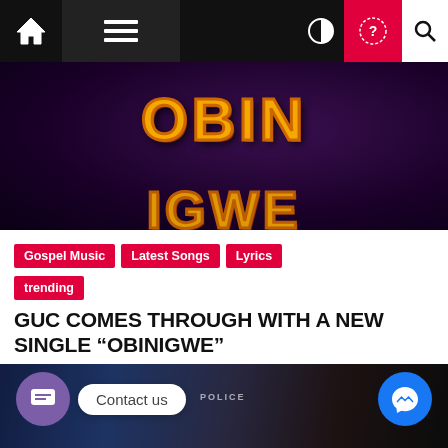Navigation bar with home, menu, contrast, help, and search icons
[Figure (photo): Hero image with yellow/orange stylized text 'OBIN' on a dark purple background]
Gospel Music
Latest Songs
Lyrics
trending
GUC COMES THROUGH WITH A NEW SINGLE “OBINIGWE”
Gift  10 months ago
[Figure (photo): Bottom photo showing people in police uniforms outdoors, with contact us bubble overlay and messenger icon]